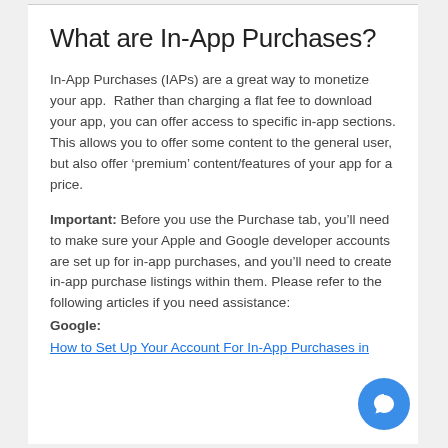What are In-App Purchases?
In-App Purchases (IAPs) are a great way to monetize your app.  Rather than charging a flat fee to download your app, you can offer access to specific in-app sections. This allows you to offer some content to the general user, but also offer ‘premium’ content/features of your app for a price.
Important: Before you use the Purchase tab, you’ll need to make sure your Apple and Google developer accounts are set up for in-app purchases, and you’ll need to create in-app purchase listings within them. Please refer to the following articles if you need assistance:
Google:
How to Set Up Your Account For In-App Purchases in